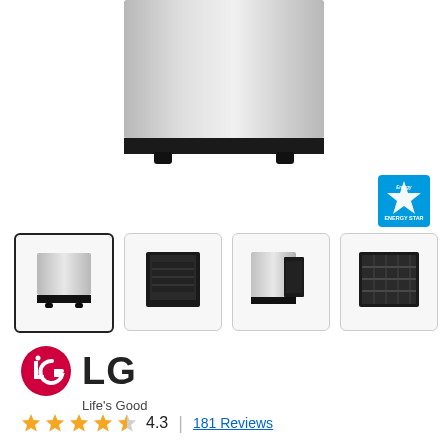[Figure (photo): Main product image of LG dishwasher, stainless steel front panel, cropped top portion visible]
[Figure (logo): Energy Star certification badge in blue]
[Figure (photo): Four thumbnail images of LG dishwasher from different angles: front (selected), open door dark, side with door open, interior rack view]
[Figure (logo): LG logo with red circle containing dot and arc, large LG text, and Life's Good tagline]
4.3  |  181 Reviews